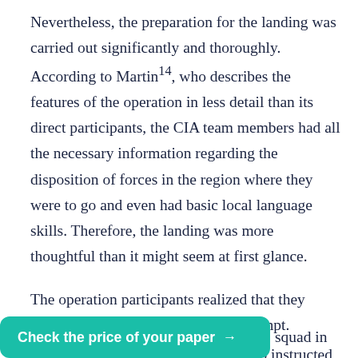Nevertheless, the preparation for the landing was carried out significantly and thoroughly. According to Martin¹⁴, who describes the features of the operation in less detail than its direct participants, the CIA team members had all the necessary information regarding the disposition of forces in the region where they were to go and even had basic local language skills. Therefore, the landing was more thoughtful than it might seem at first glance.
The operation participants realized that they would not have a second landing attempt. Keller¹⁵ notes that the CIA leadership instructed Berntsen, another member of the group, who, in his joint book with Pezzullo¹⁶, describes the detailed progress of the squad in
Check the price of your paper →